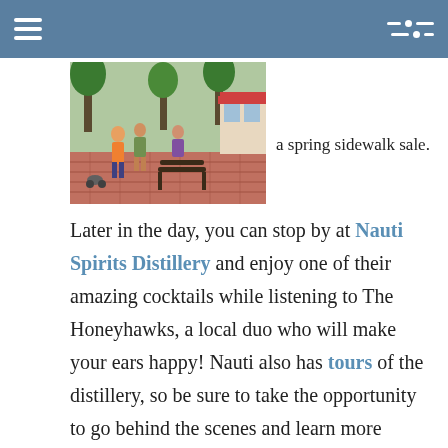[Figure (photo): Outdoor street scene showing a sidewalk sale, people walking, trees, storefronts, and a bench on a brick-paved pedestrian area.]
a spring sidewalk sale.
Later in the day, you can stop by at Nauti Spirits Distillery and enjoy one of their amazing cocktails while listening to The Honeyhawks, a local duo who will make your ears happy! Nauti also has tours of the distillery, so be sure to take the opportunity to go behind the scenes and learn more about the distilling process. Also, take a moment to look very closely at their logo...it's surprising and cool!